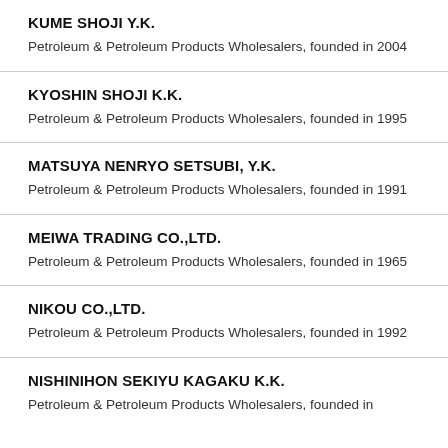KUME SHOJI Y.K.
Petroleum & Petroleum Products Wholesalers, founded in 2004
KYOSHIN SHOJI K.K.
Petroleum & Petroleum Products Wholesalers, founded in 1995
MATSUYA NENRYO SETSUBI, Y.K.
Petroleum & Petroleum Products Wholesalers, founded in 1991
MEIWA TRADING CO.,LTD.
Petroleum & Petroleum Products Wholesalers, founded in 1965
NIKOU CO.,LTD.
Petroleum & Petroleum Products Wholesalers, founded in 1992
NISHINIHON SEKIYU KAGAKU K.K.
Petroleum & Petroleum Products Wholesalers, founded in